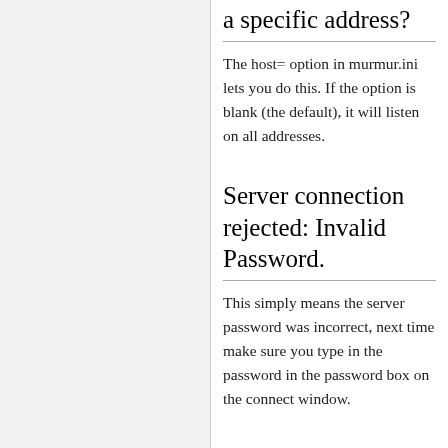a specific address?
The host= option in murmur.ini lets you do this. If the option is blank (the default), it will listen on all addresses.
Server connection rejected: Invalid Password.
This simply means the server password was incorrect, next time make sure you type in the password in the password box on the connect window.
Server connection failed: Host not found.
This means that there is no